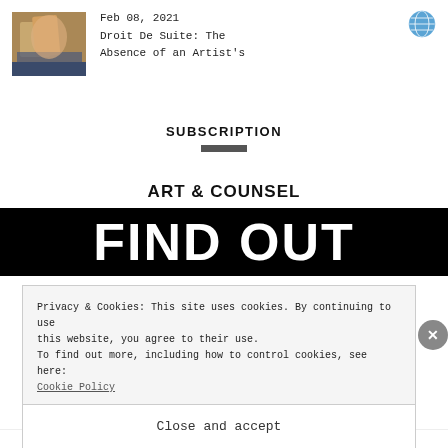[Figure (photo): Small thumbnail image of an artwork or painting]
Feb 08, 2021
Droit De Suite: The
Absence of an Artist's
[Figure (illustration): Globe/world icon in blue]
SUBSCRIPTION
ART & COUNSEL
[Figure (screenshot): Black banner with large white bold text reading FIND OUT]
Privacy & Cookies: This site uses cookies. By continuing to use this website, you agree to their use.
To find out more, including how to control cookies, see here:
Cookie Policy
Close and accept